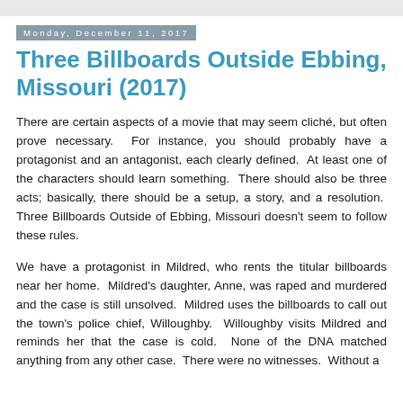Monday, December 11, 2017
Three Billboards Outside Ebbing, Missouri (2017)
There are certain aspects of a movie that may seem cliché, but often prove necessary.  For instance, you should probably have a protagonist and an antagonist, each clearly defined.  At least one of the characters should learn something.  There should also be three acts; basically, there should be a setup, a story, and a resolution.  Three Billboards Outside of Ebbing, Missouri doesn't seem to follow these rules.
We have a protagonist in Mildred, who rents the titular billboards near her home.  Mildred's daughter, Anne, was raped and murdered and the case is still unsolved.  Mildred uses the billboards to call out the town's police chief, Willoughby.  Willoughby visits Mildred and reminds her that the case is cold.  None of the DNA matched anything from any other case.  There were no witnesses.  Without a